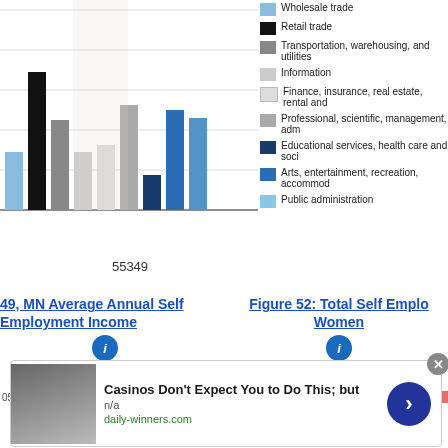[Figure (bar-chart): Industry Employment Bar Chart]
55349
49, MN Average Annual Self Employment Income
Figure 52: Total Self Employment Women
[Figure (bar-chart): Partial bar chart rows visible at bottom of page]
[Figure (other): Advertisement overlay: Casinos Don't Expect You to Do This; but — n/a — daily-winners.com]